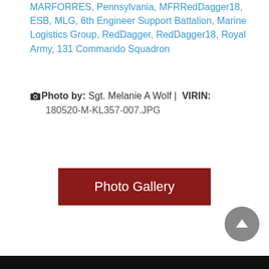MARFORRES, Pennsylvania, MFRRedDagger18, ESB, MLG, 6th Engineer Support Battalion, Marine Logistics Group, RedDagger, RedDagger18, Royal Army, 131 Commando Squadron
Photo by: Sgt. Melanie A Wolf | VIRIN: 180520-M-KL357-007.JPG
[Figure (other): Photo Gallery button - dark red rectangular button with white text]
[Figure (other): Back to top circular grey button with upward arrow icon]